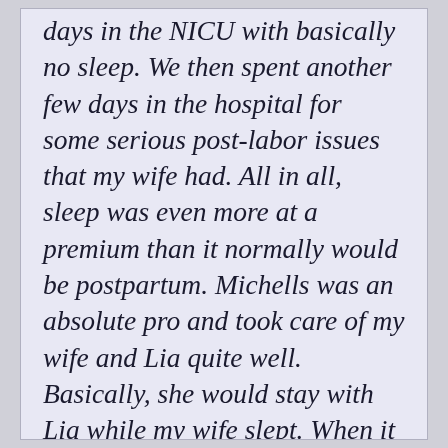days in the NICU with basically no sleep. We then spent another few days in the hospital for some serious post-labor issues that my wife had. All in all, sleep was even more at a premium than it normally would be postpartum. Michells was an absolute pro and took care of my wife and Lia quite well. Basically, she would stay with Lia while my wife slept. When it was time to feed, Michelle would change Lia's diaper, bring her to my wife, help her feed, and then would take Lia